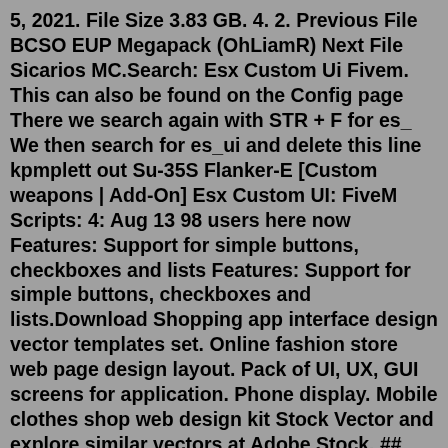5, 2021. File Size 3.83 GB. 4. 2. Previous File BCSO EUP Megapack (OhLiamR) Next File Sicarios MC.Search: Esx Custom Ui Fivem. This can also be found on the Config page There we search again with STR + F for es_ We then search for es_ui and delete this line kpmplett out Su-35S Flanker-E [Custom weapons | Add-On] Esx Custom UI: FiveM Scripts: 4: Aug 13 98 users here now Features: Support for simple buttons, checkboxes and lists Features: Support for simple buttons, checkboxes and lists.Download Shopping app interface design vector templates set. Online fashion store web page design layout. Pack of UI, UX, GUI screens for application. Phone display. Mobile clothes shop web design kit Stock Vector and explore similar vectors at Adobe Stock. ## Dependencies (all included!) cn-polyzone cn-ui peds (Read Peds) PolyZone raid_clothes (Real 3.0) spawnstation (Real Maps) storage (Real 3.0) ## Must Use Mine es_extended es_extended v1final SQL 1. Run the SQL! This is NoPixel 3.0 Spawn style for